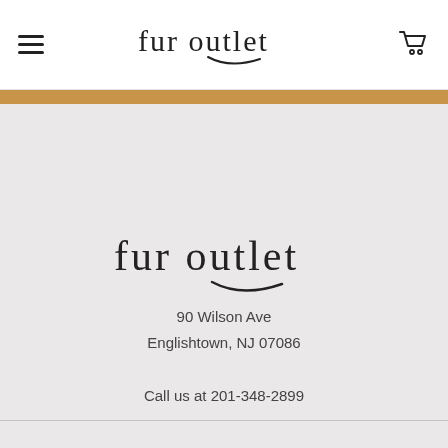fur outlet — navigation header with hamburger menu and cart icon
[Figure (logo): Fur Outlet logo centered on grey background]
90 Wilson Ave
Englishtown, NJ 07086
Call us at 201-348-2899
Navigate
Categories
Home
Women's